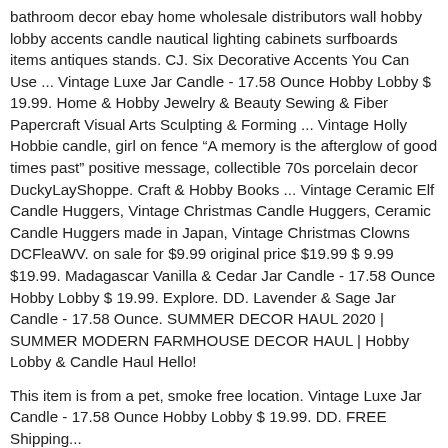bathroom decor ebay home wholesale distributors wall hobby lobby accents candle nautical lighting cabinets surfboards items antiques stands. CJ. Six Decorative Accents You Can Use ... Vintage Luxe Jar Candle - 17.58 Ounce Hobby Lobby $ 19.99. Home & Hobby Jewelry & Beauty Sewing & Fiber Papercraft Visual Arts Sculpting & Forming ... Vintage Holly Hobbie candle, girl on fence "A memory is the afterglow of good times past" positive message, collectible 70s porcelain decor DuckyLayShoppe. Craft & Hobby Books ... Vintage Ceramic Elf Candle Huggers, Vintage Christmas Candle Huggers, Ceramic Candle Huggers made in Japan, Vintage Christmas Clowns DCFleaWV. on sale for $9.99 original price $19.99 $ 9.99 $19.99. Madagascar Vanilla & Cedar Jar Candle - 17.58 Ounce Hobby Lobby $ 19.99. Explore. DD. Lavender & Sage Jar Candle - 17.58 Ounce. SUMMER DECOR HAUL 2020 | SUMMER MODERN FARMHOUSE DECOR HAUL | Hobby Lobby & Candle Haul Hello!
This item is from a pet, smoke free location. Vintage Luxe Jar Candle - 17.58 Ounce Hobby Lobby $ 19.99. DD. FREE Shipping...